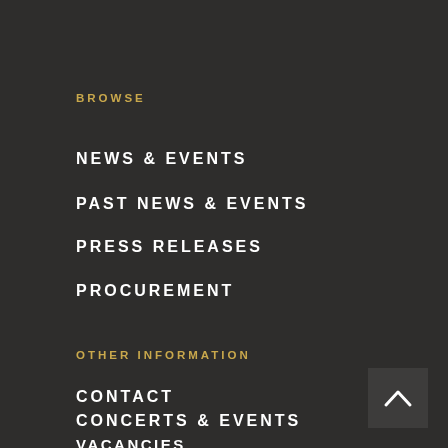BROWSE
NEWS & EVENTS
PAST NEWS & EVENTS
PRESS RELEASES
PROCUREMENT
OTHER INFORMATION
CONTACT
CONCERTS & EVENTS
VACANCIES
PRIVACY POLICY